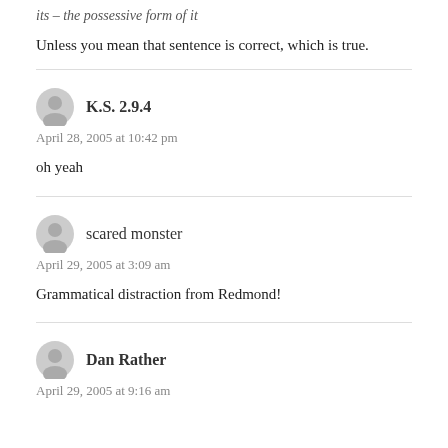its – the possessive form of it
Unless you mean that sentence is correct, which is true.
K.S. 2.9.4
April 28, 2005 at 10:42 pm
oh yeah
scared monster
April 29, 2005 at 3:09 am
Grammatical distraction from Redmond!
Dan Rather
April 29, 2005 at 9:16 am